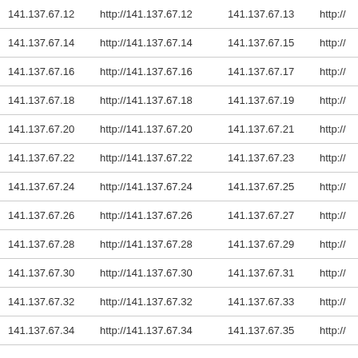| 141.137.67.12 | http://141.137.67.12 | 141.137.67.13 | http:// |
| 141.137.67.14 | http://141.137.67.14 | 141.137.67.15 | http:// |
| 141.137.67.16 | http://141.137.67.16 | 141.137.67.17 | http:// |
| 141.137.67.18 | http://141.137.67.18 | 141.137.67.19 | http:// |
| 141.137.67.20 | http://141.137.67.20 | 141.137.67.21 | http:// |
| 141.137.67.22 | http://141.137.67.22 | 141.137.67.23 | http:// |
| 141.137.67.24 | http://141.137.67.24 | 141.137.67.25 | http:// |
| 141.137.67.26 | http://141.137.67.26 | 141.137.67.27 | http:// |
| 141.137.67.28 | http://141.137.67.28 | 141.137.67.29 | http:// |
| 141.137.67.30 | http://141.137.67.30 | 141.137.67.31 | http:// |
| 141.137.67.32 | http://141.137.67.32 | 141.137.67.33 | http:// |
| 141.137.67.34 | http://141.137.67.34 | 141.137.67.35 | http:// |